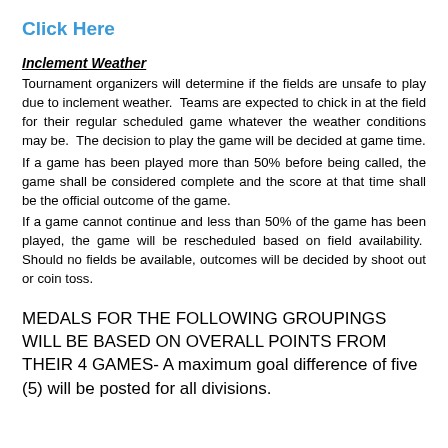Click Here
Inclement Weather
Tournament organizers will determine if the fields are unsafe to play due to inclement weather. Teams are expected to chick in at the field for their regular scheduled game whatever the weather conditions may be. The decision to play the game will be decided at game time. If a game has been played more than 50% before being called, the game shall be considered complete and the score at that time shall be the official outcome of the game. If a game cannot continue and less than 50% of the game has been played, the game will be rescheduled based on field availability. Should no fields be available, outcomes will be decided by shoot out or coin toss.
MEDALS FOR THE FOLLOWING GROUPINGS WILL BE BASED ON OVERALL POINTS FROM THEIR 4 GAMES- A maximum goal difference of five (5) will be posted for all divisions.